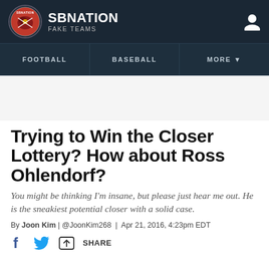SB NATION | FAKE TEAMS
FOOTBALL | BASEBALL | MORE
Trying to Win the Closer Lottery? How about Ross Ohlendorf?
You might be thinking I'm insane, but please just hear me out. He is the sneakiest potential closer with a solid case.
By Joon Kim | @JoonKim268 | Apr 21, 2016, 4:23pm EDT
SHARE